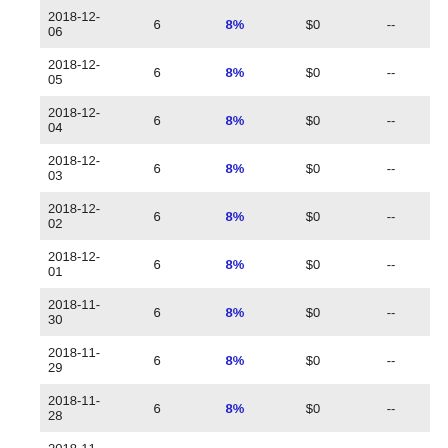| Date |  | Rate | Amount |  |
| --- | --- | --- | --- | --- |
| 2018-12-06 | 6 | 8% | $0 | -- |
| 2018-12-05 | 6 | 8% | $0 | -- |
| 2018-12-04 | 6 | 8% | $0 | -- |
| 2018-12-03 | 6 | 8% | $0 | -- |
| 2018-12-02 | 6 | 8% | $0 | -- |
| 2018-12-01 | 6 | 8% | $0 | -- |
| 2018-11-30 | 6 | 8% | $0 | -- |
| 2018-11-29 | 6 | 8% | $0 | -- |
| 2018-11-28 | 6 | 8% | $0 | -- |
| 2018-11-27 | 6 | 8% | $0 | -- |
| 2018-11-26 | 6 | 8% | $0 | -- |
| 2018-11-25 | 6 | 8% | $0 | -- |
| 2018-11-24 | 6 | 8% | $0 | -- |
| 2018-11-23 | 6 | 8% | $0 | -- |
| 2018-11-22 | 6 | 8% | $0 | -- |
| 2018-11-21 | 6 | 8% | $0 | -- |